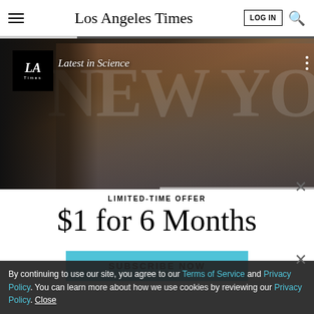Los Angeles Times
[Figure (photo): Hero image showing a city street scene with brick building and 'NEW YO' text visible, LA Times badge, and 'Latest in Science' label overlay]
LIMITED-TIME OFFER
$1 for 6 Months
SUBSCRIBE NOW
By continuing to use our site, you agree to our Terms of Service and Privacy Policy. You can learn more about how we use cookies by reviewing our Privacy Policy. Close